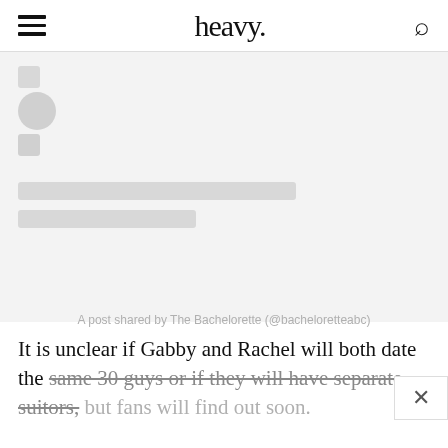heavy.
[Figure (screenshot): Instagram embed loading placeholder with grey skeleton profile icon, circle avatar, speech bubble icon, and two grey loading bars representing a Bachelorette post]
A post shared by The Bachelorette (@bacheloretteabc)
It is unclear if Gabby and Rachel will both date the same 30 guys or if they will have separate suitors, but fans will find out soon.